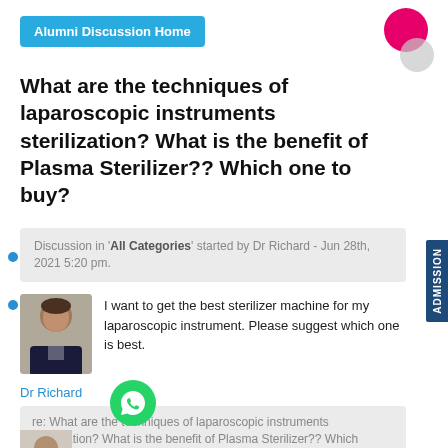Alumni Discussion Home
What are the techniques of laparoscopic instruments sterilization? What is the benefit of Plasma Sterilizer?? Which one to buy?
Discussion in 'All Categories' started by Dr Richard - Jun 28th, 2021 5:20 pm.
I want to get the best sterilizer machine for my laparoscopic instrument. Please suggest which one is best.
Dr Richard
re: What are the techniques of laparoscopic instruments sterilization? What is the benefit of Plasma Sterilizer?? Which one to buy? by Dr. R.K. Mishra - Jun 28th, 2021 5:38 pm
#1
Hi Richard